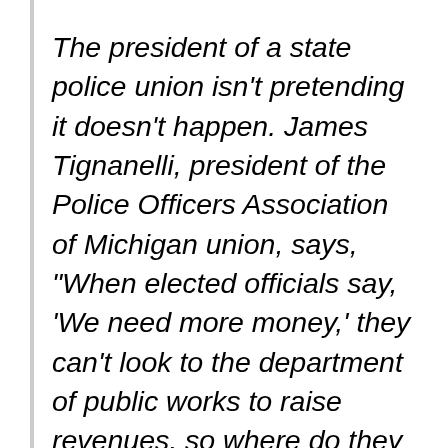The president of a state police union isn't pretending it doesn't happen. James Tignanelli, president of the Police Officers Association of Michigan union, says, “When elected officials say, ‘We need more money,’ they can't look to the department of public works to raise revenues, so where do they find it? Police departments.

“A lot of police chiefs will tell you the goal is to have nobody